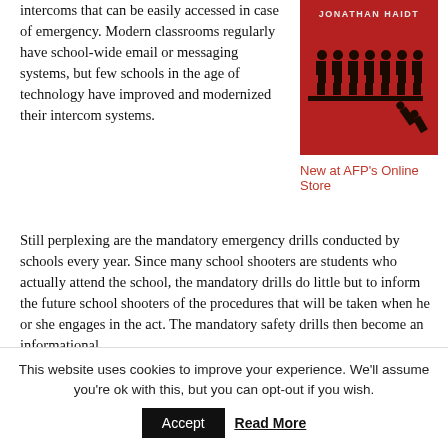intercoms that can be easily accessed in case of emergency. Modern classrooms regularly have school-wide email or messaging systems, but few schools in the age of technology have improved and modernized their intercom systems.
[Figure (illustration): Book cover for 'Jonathan Haidt' featuring figures on a red background]
New at AFP's Online Store
Still perplexing are the mandatory emergency drills conducted by schools every year. Since many school shooters are students who actually attend the school, the mandatory drills do little but to inform the future school shooters of the procedures that will be taken when he or she engages in the act. The mandatory safety drills then become an informational
This website uses cookies to improve your experience. We'll assume you're ok with this, but you can opt-out if you wish.
Accept    Read More